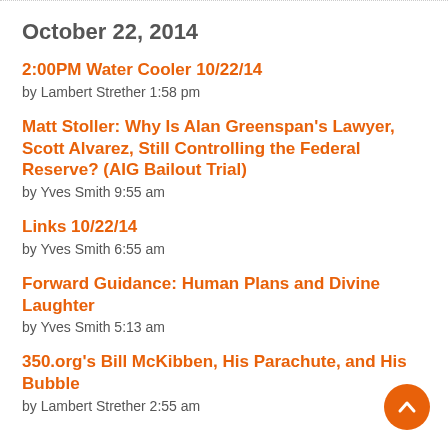October 22, 2014
2:00PM Water Cooler 10/22/14
by Lambert Strether 1:58 pm
Matt Stoller: Why Is Alan Greenspan's Lawyer, Scott Alvarez, Still Controlling the Federal Reserve? (AIG Bailout Trial)
by Yves Smith 9:55 am
Links 10/22/14
by Yves Smith 6:55 am
Forward Guidance: Human Plans and Divine Laughter
by Yves Smith 5:13 am
350.org's Bill McKibben, His Parachute, and His Bubble
by Lambert Strether 2:55 am